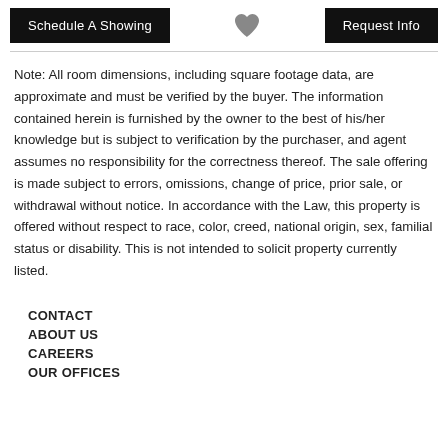Schedule A Showing | [heart icon] | Request Info
Note: All room dimensions, including square footage data, are approximate and must be verified by the buyer. The information contained herein is furnished by the owner to the best of his/her knowledge but is subject to verification by the purchaser, and agent assumes no responsibility for the correctness thereof. The sale offering is made subject to errors, omissions, change of price, prior sale, or withdrawal without notice. In accordance with the Law, this property is offered without respect to race, color, creed, national origin, sex, familial status or disability. This is not intended to solicit property currently listed.
CONTACT
ABOUT US
CAREERS
OUR OFFICES